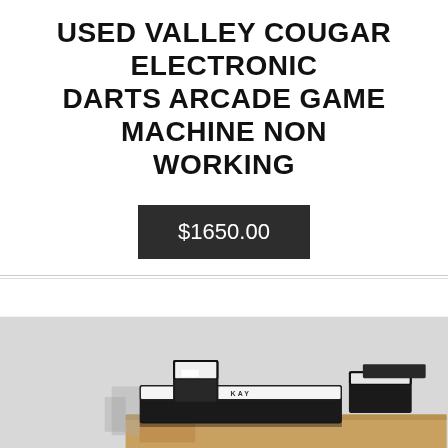USED VALLEY COUGAR ELECTRONIC DARTS ARCADE GAME MACHINE NON WORKING
$1650.00
[Figure (photo): Photograph of several black jewelry boxes (Kay Jewelers branded) stacked on a cardboard box. One open box shows a white interior with 'KAY' text.]